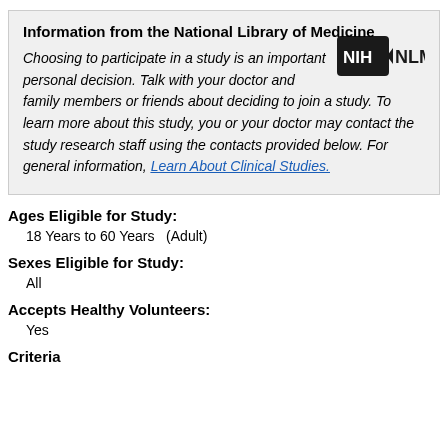Information from the National Library of Medicine

Choosing to participate in a study is an important personal decision. Talk with your doctor and family members or friends about deciding to join a study. To learn more about this study, you or your doctor may contact the study research staff using the contacts provided below. For general information, Learn About Clinical Studies.
Ages Eligible for Study:
18 Years to 60 Years   (Adult)
Sexes Eligible for Study:
All
Accepts Healthy Volunteers:
Yes
Criteria